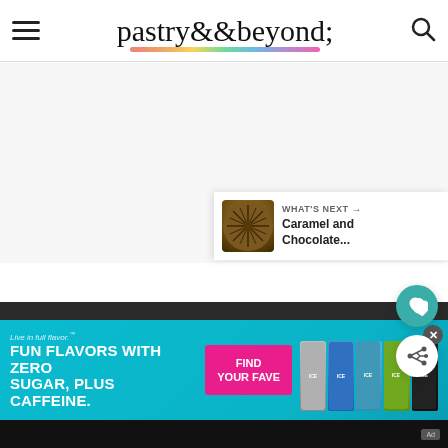pastry & beyond
[Figure (screenshot): Blank main content area with floating heart and share buttons on the right side]
WHAT'S NEXT → Caramel and Chocolate...
[Figure (photo): Thumbnail of caramel and chocolate dessert]
[Figure (infographic): Advertisement banner: Live in full flavor. FUN FLAVORS WITH ZERO SUGAR, PLUS CAFFEINE. FIND YOUR FAVE. Sparkling Ice cans displayed.]